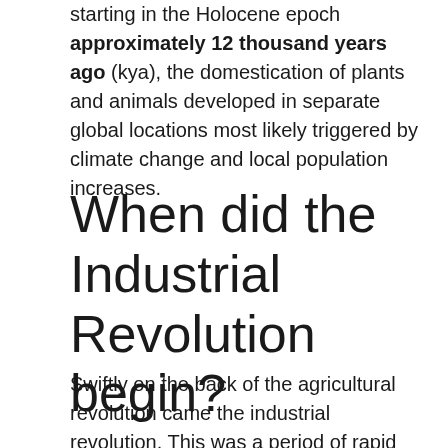starting in the Holocene epoch approximately 12 thousand years ago (kya), the domestication of plants and animals developed in separate global locations most likely triggered by climate change and local population increases.
When did the Industrial Revolution begin?
Swiftly on the back of the agricultural revolution came the industrial revolution. This was a period of rapid industrial growth